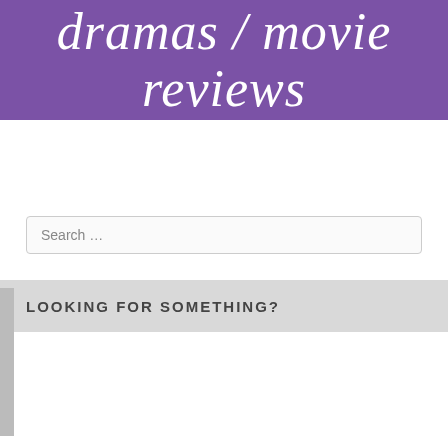[Figure (illustration): Purple banner with white cursive/script text reading 'dramas / movie reviews' (partially visible, top cut off)]
LOOKING FOR SOMETHING?
Search ...
Privacy & Cookies: This site uses cookies. By continuing to use this website, you agree to their use.
To find out more, including how to control cookies, see here: Cookie Policy
Close and accept